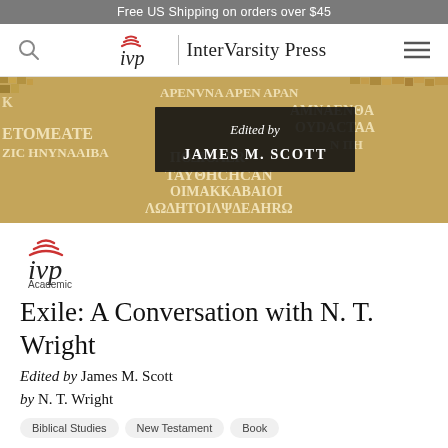Free US Shipping on orders over $45
[Figure (logo): InterVarsity Press navigation bar with search icon, IVP logo, and hamburger menu]
[Figure (photo): Book cover image showing an ancient mosaic with Greek text, overlaid with a dark box reading 'Edited by JAMES M. SCOTT']
[Figure (logo): IVP Academic imprint logo]
Exile: A Conversation with N. T. Wright
Edited by James M. Scott
by N. T. Wright
Biblical Studies  New Testament  Book